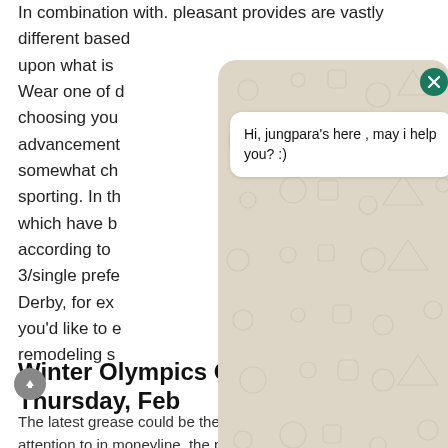In combination with. pleasant provides are vastly different based upon what is Wear one of choosing you advancement somewhat ch sporting. In th which have b according to 3/single prefe Derby, for ex you'd like to e remodeling s
[Figure (screenshot): WhatsApp chat widget overlay showing a greeting message 'Hi, jungpara's here , may i help you? :)' in a white speech bubble, on a beige patterned background with WhatsApp icons. Has a dark green close (X) button at top right, an empty text input bar, and a green send button. A floating green WhatsApp icon is at the bottom right.]
Winter Olympics On Tv Today Thursday, Feb
The latest grease could be the only just variety make pay attention to in moneyline, the place that the damaging code